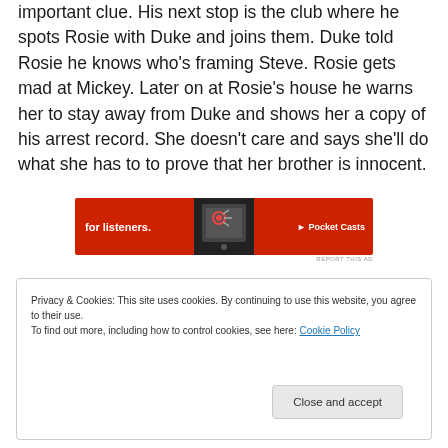important clue. His next stop is the club where he spots Rosie with Duke and joins them. Duke told Rosie he knows who's framing Steve. Rosie gets mad at Mickey. Later on at Rosie's house he warns her to stay away from Duke and shows her a copy of his arrest record. She doesn't care and says she'll do what she has to to prove that her brother is innocent.
[Figure (other): Advertisement banner for Pocket Casts showing red background with text 'for listeners.' and a phone image with Pocket Casts logo]
REPORT THIS AD
Privacy & Cookies: This site uses cookies. By continuing to use this website, you agree to their use. To find out more, including how to control cookies, see here: Cookie Policy